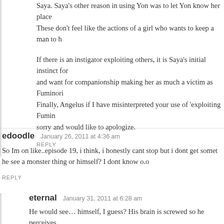Saya. Saya's other reason in using Yon was to let Yon know her place. These don't feel like the actions of a girl who wants to keep a man to h
If there is an instigator exploiting others, it is Saya's initial instinct for and want for companionship making her as much a victim as Fuminori. Finally, Angelus if I have misinterpreted your use of 'exploiting Fumin sorry and would like to apologize.
REPLY
edoodle   January 26, 2011 at 4:36 am
So Im on like..episode 19, i think, i honestly cant stop but i dont get somet he see a monster thing or himself? I dont know o.o
REPLY
eternal   January 31, 2011 at 6:28 am
He would see… himself, I guess? His brain is screwed so he perceives senses wouldn't make him view himself like that, otherwise he'd have